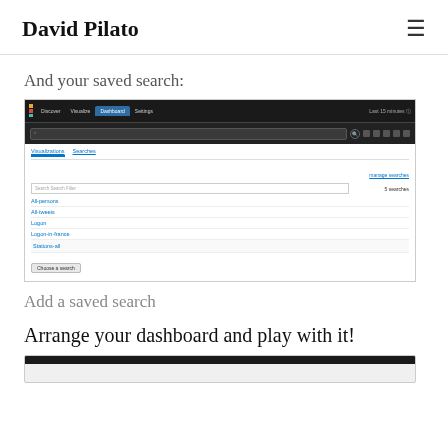David Pilato
And your saved search:
[Figure (screenshot): Kibana dashboard screenshot showing a 'Searches' panel with saved searches listed: All-persons, All-tweets, Logon, Logon-in-france, Stations-all, with a 'Choose a search' button and search filter input.]
Add a saved search
Arrange your dashboard and play with it!
[Figure (screenshot): Partial screenshot of a Kibana dashboard at the bottom of the page.]